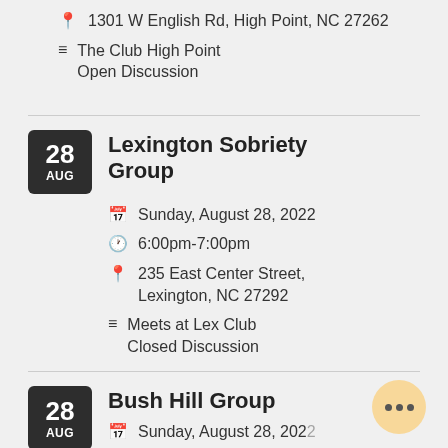1301 W English Rd, High Point, NC 27262
The Club High Point Open Discussion
Lexington Sobriety Group
Sunday, August 28, 2022
6:00pm-7:00pm
235 East Center Street, Lexington, NC 27292
Meets at Lex Club Closed Discussion
Bush Hill Group
Sunday, August 28, 2022